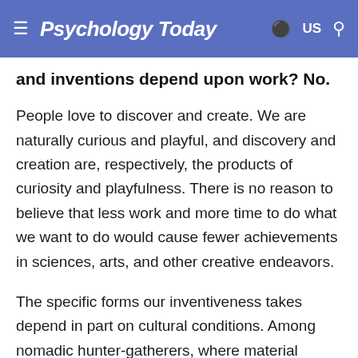Psychology Today — US
and inventions depend upon work? No.
People love to discover and create. We are naturally curious and playful, and discovery and creation are, respectively, the products of curiosity and playfulness. There is no reason to believe that less work and more time to do what we want to do would cause fewer achievements in sciences, arts, and other creative endeavors.
The specific forms our inventiveness takes depend in part on cultural conditions. Among nomadic hunter-gatherers, where material goods beyond what one could easily carry were a burden,